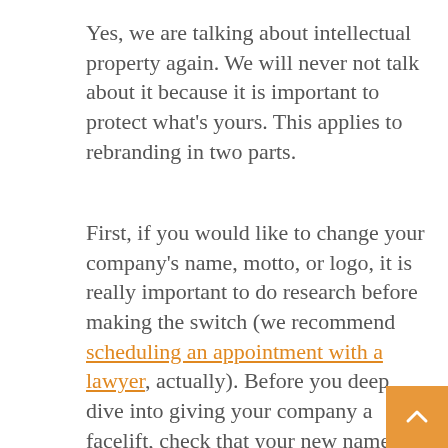Yes, we are talking about intellectual property again. We will never not talk about it because it is important to protect what’s yours. This applies to rebranding in two parts.
First, if you would like to change your company’s name, motto, or logo, it is really important to do research before making the switch (we recommend scheduling an appointment with a lawyer, actually). Before you deep dive into giving your company a facelift, check that your new name or branding isn’t taken already in the trademark databases. Aside from